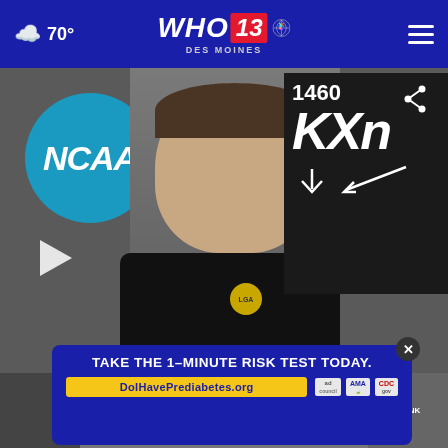70° WHO 13 DES MOINES NBC
[Figure (screenshot): Video thumbnail showing a young man in a black LGA polo shirt standing in front of an NCAA banner and a 1460 KXn radio station sign. A play button is visible on the left side. A share icon appears in the top right corner of the video.]
[Figure (screenshot): Advertisement banner overlay: 'TAKE THE 1-MINUTE RISK TEST TODAY.' with URL DoIHavePrediabetes.org and logos for ad council, AMA, and CDC]
TAKE THE 1-MINUTE RISK TEST TODAY.
DoIHavePrediabetes.org